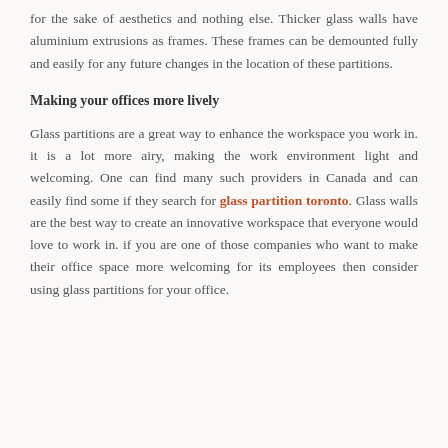for the sake of aesthetics and nothing else. Thicker glass walls have aluminium extrusions as frames. These frames can be demounted fully and easily for any future changes in the location of these partitions.
Making your offices more lively
Glass partitions are a great way to enhance the workspace you work in. it is a lot more airy, making the work environment light and welcoming. One can find many such providers in Canada and can easily find some if they search for glass partition toronto. Glass walls are the best way to create an innovative workspace that everyone would love to work in. if you are one of those companies who want to make their office space more welcoming for its employees then consider using glass partitions for your office.